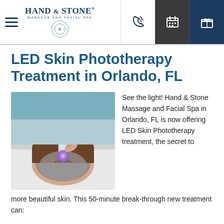[Figure (logo): Hand & Stone Massage and Facial Spa logo with hamburger menu icon on left]
[Figure (infographic): Navigation bar icons: phone, calendar, gift icons on dark background]
LED Skin Phototherapy Treatment in Orlando, FL
[Figure (photo): Woman lying down receiving LED skin phototherapy facial treatment with a grey clay mask and a purple LED light device being applied to her face]
See the light! Hand & Stone Massage and Facial Spa in Orlando, FL is now offering LED Skin Phototherapy treatment, the secret to more beautiful skin. This 50-minute break-through new treatment can: